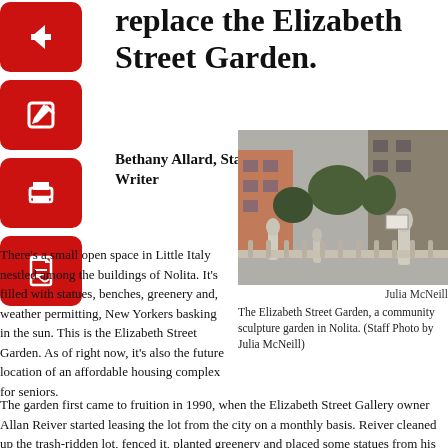replace the Elizabeth Street Garden.
Bethany Allard, Staff Writer
[Figure (photo): Photo of the Elizabeth Street Garden showing stone statues, benches, greenery and buildings in the background.]
Julia McNeill
The Elizabeth Street Garden, a community sculpture garden in Nolita. (Staff Photo by Julia McNeill)
There's a small open space in Little Italy nestled among the buildings of Nolita. It's filled with statues, benches, greenery and, weather permitting, New Yorkers basking in the sun. This is the Elizabeth Street Garden. As of right now, it's also the future location of an affordable housing complex for seniors.
The garden first came to fruition in 1990, when the Elizabeth Street Gallery owner Allan Reiver started leasing the lot from the city on a monthly basis. Reiver cleaned up the trash-ridden lot, fenced it, planted greenery and placed some statues from his gallery. In 2005, he granted the public access to the garden